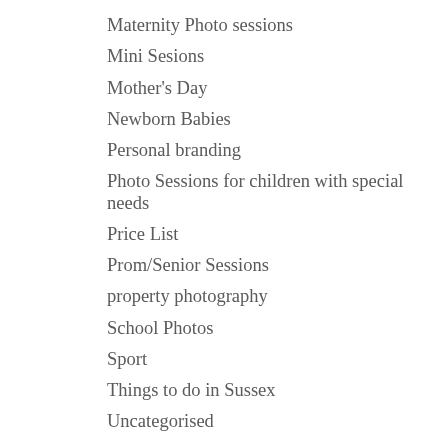Maternity Photo sessions
Mini Sesions
Mother's Day
Newborn Babies
Personal branding
Photo Sessions for children with special needs
Price List
Prom/Senior Sessions
property photography
School Photos
Sport
Things to do in Sussex
Uncategorised